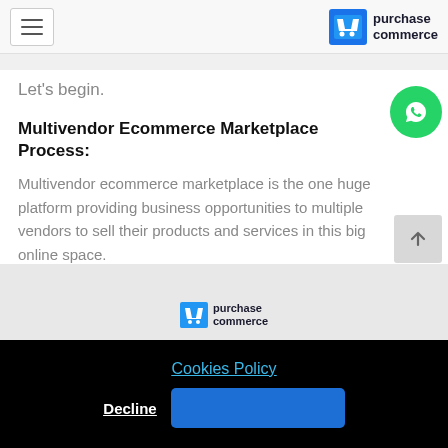purchase commerce
Let's begin.
Multivendor Ecommerce Marketplace Process:
Multivendor ecommerce marketplace is the one huge platform providing business opportunities to multiple vendors to sell their products and services in this big online space.
[Figure (logo): Purchase Commerce logo in footer strip area]
Cookies Policy
Decline